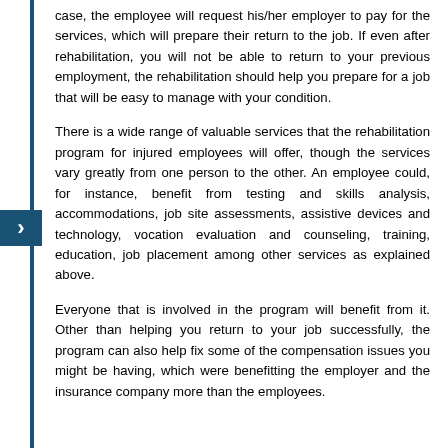case, the employee will request his/her employer to pay for the services, which will prepare their return to the job. If even after rehabilitation, you will not be able to return to your previous employment, the rehabilitation should help you prepare for a job that will be easy to manage with your condition.
There is a wide range of valuable services that the rehabilitation program for injured employees will offer, though the services vary greatly from one person to the other. An employee could, for instance, benefit from testing and skills analysis, accommodations, job site assessments, assistive devices and technology, vocation evaluation and counseling, training, education, job placement among other services as explained above.
Everyone that is involved in the program will benefit from it. Other than helping you return to your job successfully, the program can also help fix some of the compensation issues you might be having, which were benefitting the employer and the insurance company more than the employees.